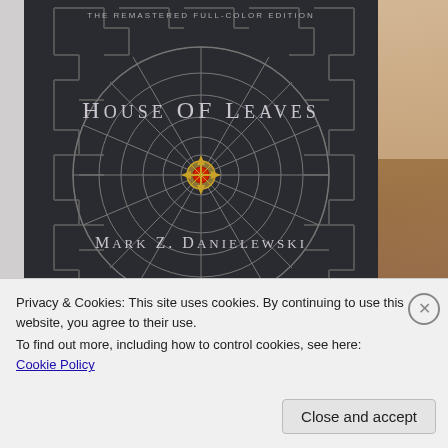[Figure (illustration): Book cover of 'House of Leaves' by Mark Z. Danielewski — The Remastered Full-Color Edition. Dark gray/black background with a maze pattern, a large circular compass-rose spiral in the center with a gold and red compass rose in the middle. Title 'House of Leaves' in spaced serif caps centered, author 'Mark Z. Danielewski' below. Partial view of a photo on the right edge.]
Privacy & Cookies: This site uses cookies. By continuing to use this website, you agree to their use.
To find out more, including how to control cookies, see here: Cookie Policy